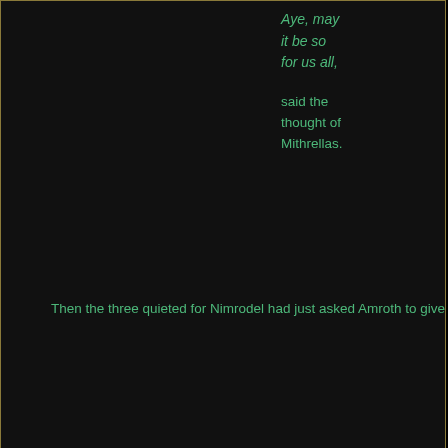Aye, may it be so for us all,

said the thought of Mithrellas.

Then the three quieted for Nimrodel had just asked Amroth to give her the song.
05-26-2009, 07:43 PM  #219
mark12_30
Stormdancer of Doom
[Figure (photo): Avatar photo of a person in a blue costume outdoors]
Join Date: Jan 2002
Location: Elvish singing is not a thing to miss, in June under the stars
Posts: 4,402
[Figure (illustration): Snowflake/star icon in post header area]
The long winter would soon be past. The sun gleamed on the snow-covered mountainsides. The snow crystals sparkled with golden light behind the glistening sheen of melting water. Below drops formed, and running down, joined into the merest trickle over the ice. Beneath, rocks and pebbles